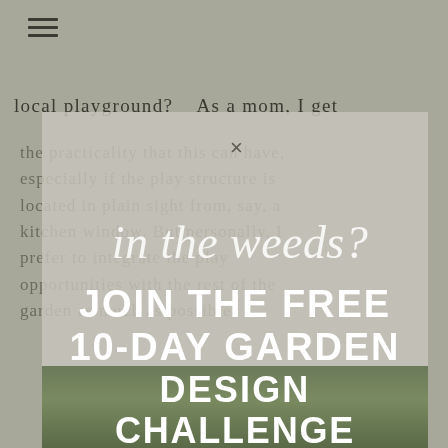[Figure (screenshot): Blog or website page showing a popup modal overlay on top of article text about playground/garden design, with navigation hamburger icon, body text partially visible, a modal with 'in the weeds?' script text and 'JOIN THE FREE 10-DAY GARDEN DESIGN CHALLENGE' promotion text overlaid on a garden image]
local playground?   As a mom, I get
the practicality that this can have, especially if the play structure is located in plain sight from, say, a kitchen window. But personally, I prefer to integrate the play opportunities with the rest of the garden as much as possible.
in the weeds?
JOIN THE FREE 10-DAY GARDEN DESIGN CHALLENGE